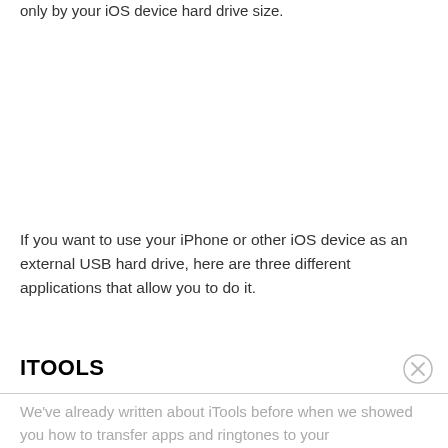only by your iOS device hard drive size.
If you want to use your iPhone or other iOS device as an external USB hard drive, here are three different applications that allow you to do it.
ITOOLS
We've already written about iTools before when we showed you how to transfer apps and ringtones to your